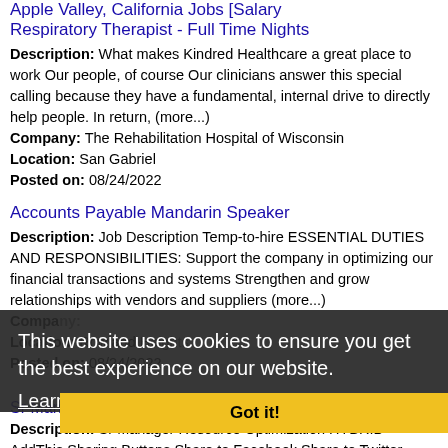Apple Valley, California Jobs [Salary
Respiratory Therapist - Full Time Nights
Description: What makes Kindred Healthcare a great place to work Our people, of course Our clinicians answer this special calling because they have a fundamental, internal drive to directly help people. In return, (more...)
Company: The Rehabilitation Hospital of Wisconsin
Location: San Gabriel
Posted on: 08/24/2022
Accounts Payable Mandarin Speaker
Description: Job Description Temp-to-hire ESSENTIAL DUTIES AND RESPONSIBILITIES: Support the company in optimizing our financial transactions and systems Strengthen and grow relationships with vendors and suppliers (more...)
Company:
Location: Rowland Heights
Posted on: 08/24/2022
Sr Manager Resource Optimization [HYBRID]
Description: Sr Manager Resource Optimization HYBRID AddThis Sharing Buttons Share to Facebook Share to Twitter Share to LinkedIn Share to Email App ul li Job ID: 71039586 li Job Family:
This website uses cookies to ensure you get the best experience on our website.
Learn more
Got it!